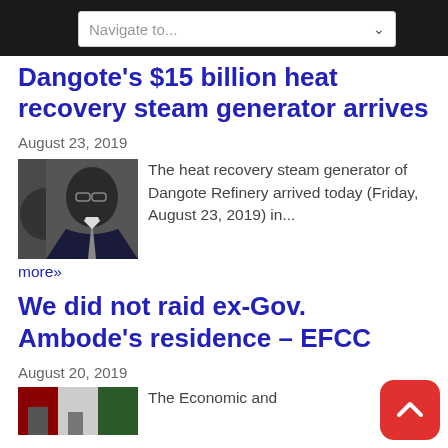Navigate to...
Dangote's $15 billion heat recovery steam generator arrives
August 23, 2019
[Figure (photo): Portrait photo of a man in a suit wearing glasses]
The heat recovery steam generator of Dangote Refinery arrived today (Friday, August 23, 2019) in...
more»
We did not raid ex-Gov. Ambode's residence – EFCC
August 20, 2019
[Figure (photo): Partial thumbnail image of news article]
The Economic and